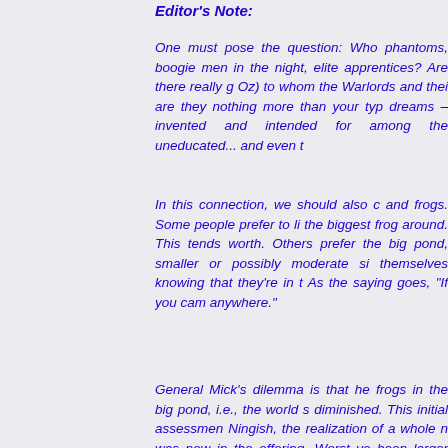Editor's Note:
One must pose the question: Who phantoms, boogie men in the night, elite apprentices? Are there really g Oz) to whom the Warlords and thei are they nothing more than your typ dreams – invented and intended for among the uneducated... and even t
In this connection, we should also c and frogs. Some people prefer to li the biggest frog around. This tends worth. Others prefer the big pond, smaller or possibly moderate si themselves knowing that they're in t As the saying goes, "If you cam anywhere."
General Mick's dilemma is that he frogs in the big pond, i.e., the world s diminished. This initial assessmen Ningish, the realization of a whole n was now in the offering. Worst ye been larger than suspected, even Chiefs of Staff. Alas, a diminution